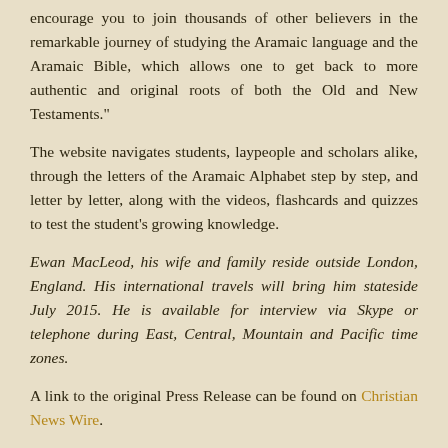encourage you to join thousands of other believers in the remarkable journey of studying the Aramaic language and the Aramaic Bible, which allows one to get back to more authentic and original roots of both the Old and New Testaments."
The website navigates students, laypeople and scholars alike, through the letters of the Aramaic Alphabet step by step, and letter by letter, along with the videos, flashcards and quizzes to test the student's growing knowledge.
Ewan MacLeod, his wife and family reside outside London, England. His international travels will bring him stateside July 2015. He is available for interview via Skype or telephone during East, Central, Mountain and Pacific time zones.
A link to the original Press Release can be found on Christian News Wire.